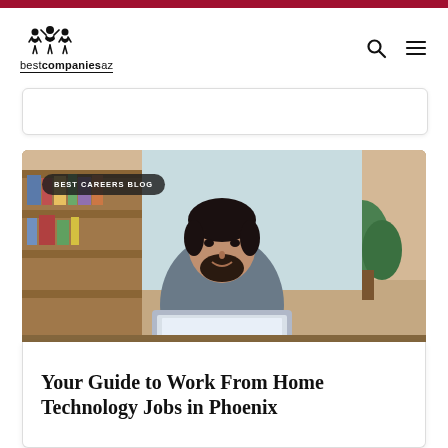bestcompaniesaz
[Figure (photo): Man with beard working on a laptop at a home office desk with bookshelves in the background. Badge overlay reads BEST CAREERS BLOG.]
Your Guide to Work From Home Technology Jobs in Phoenix